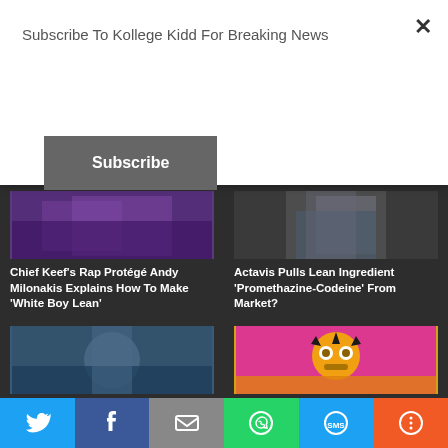Subscribe To Kollege Kidd For Breaking News
Subscribe
[Figure (photo): Purple-toned photo partially visible, top-left article thumbnail]
Chief Keef's Rap Protégé Andy Milonakis Explains How To Make 'White Boy Lean'
[Figure (photo): Person holding bottle, top-right article thumbnail]
Actavis Pulls Lean Ingredient 'Promethazine-Codeine' From Market?
[Figure (photo): Person with chain/medallion, bottom-left article thumbnail]
Chief Keef, Fredo Santana and
[Figure (illustration): Cartoon/illustrated character on pink/orange background, bottom-right article thumbnail]
Chief Keef Glonimates Andy
Twitter | Facebook | Email | WhatsApp | SMS | More